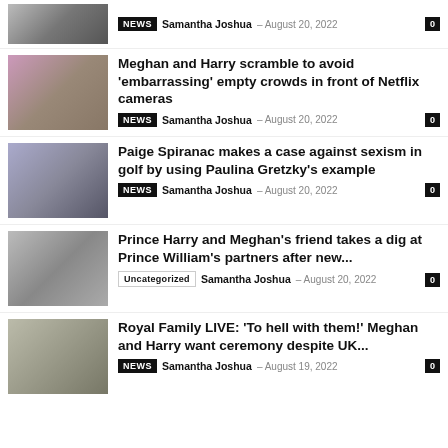[Figure (photo): Partial top article thumbnail, cropped]
NEWS  Samantha Joshua — August 20, 2022  0
[Figure (photo): Meghan and Harry photo]
Meghan and Harry scramble to avoid 'embarrassing' empty crowds in front of Netflix cameras
NEWS  Samantha Joshua — August 20, 2022  0
[Figure (photo): Paige Spiranac and Paulina Gretzky photo]
Paige Spiranac makes a case against sexism in golf by using Paulina Gretzky's example
NEWS  Samantha Joshua — August 20, 2022  0
[Figure (photo): Prince Harry and Meghan photo]
Prince Harry and Meghan's friend takes a dig at Prince William's partners after new...
Uncategorized  Samantha Joshua — August 20, 2022  0
[Figure (photo): Royal Family event photo]
Royal Family LIVE: 'To hell with them!' Meghan and Harry want ceremony despite UK...
NEWS  Samantha Joshua — August 19, 2022  0